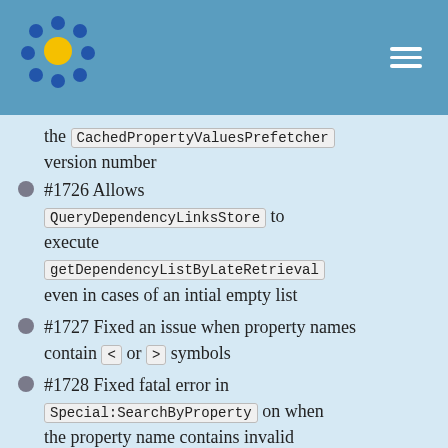the CachedPropertyValuesPrefetcher version number
#1726 Allows QueryDependencyLinksStore to execute getDependencyListByLateRetrieval even in cases of an intial empty list
#1727 Fixed an issue when property names contain < or > symbols
#1728 Fixed fatal error in Special:SearchByProperty on when the property name contains invalid characters
#1731 Fixed possible error in the SkinAfterContent hook when a null object is used